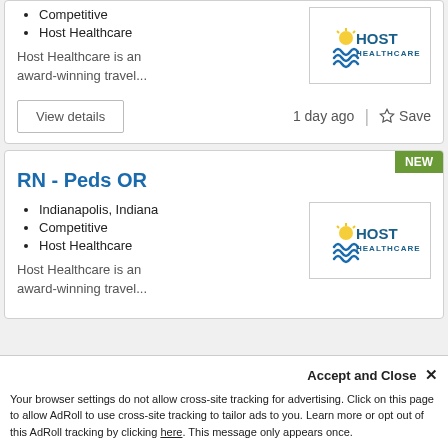Competitive
Host Healthcare
Host Healthcare is an award-winning travel...
View details
1 day ago  |  ☆ Save
RN - Peds OR
Indianapolis, Indiana
Competitive
Host Healthcare
Host Healthcare is an award-winning travel...
Accept and Close ✕
Your browser settings do not allow cross-site tracking for advertising. Click on this page to allow AdRoll to use cross-site tracking to tailor ads to you. Learn more or opt out of this AdRoll tracking by clicking here. This message only appears once.